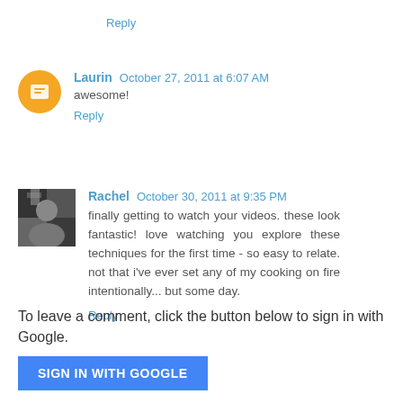Reply
Laurin  October 27, 2011 at 6:07 AM
awesome!
Reply
Rachel  October 30, 2011 at 9:35 PM
finally getting to watch your videos. these look fantastic! love watching you explore these techniques for the first time - so easy to relate. not that i've ever set any of my cooking on fire intentionally... but some day.
Reply
To leave a comment, click the button below to sign in with Google.
SIGN IN WITH GOOGLE